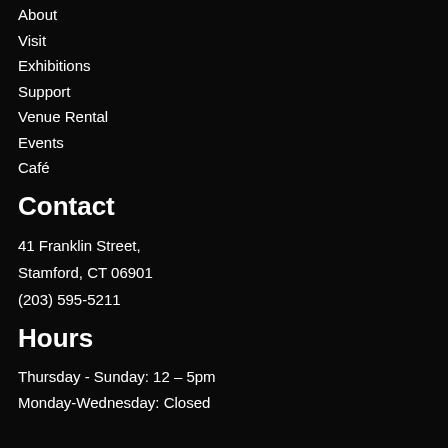About
Visit
Exhibitions
Support
Venue Rental
Events
Café
Contact
41 Franklin Street,
Stamford, CT 06901
(203) 595-5211
Hours
Thursday - Sunday: 12 – 5pm
Monday-Wednesday: Closed
Email address: